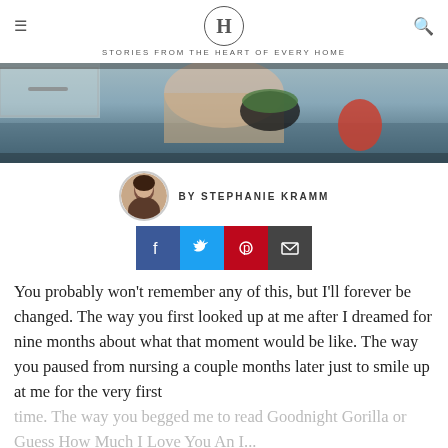H — STORIES FROM THE HEART OF EVERY HOME
[Figure (photo): Hero banner photo of a person cooking in a kitchen with vegetables and a bowl visible]
BY STEPHANIE KRAMM
[Figure (infographic): Social sharing buttons: Facebook, Twitter, Pinterest, Email]
You probably won't remember any of this, but I'll forever be changed. The way you first looked up at me after I dreamed for nine months about what that moment would be like. The way you paused from nursing a couple months later just to smile up at me for the very first time. The way you begged me to read Goodnight Gorilla or Guess How Much I Love You An I...